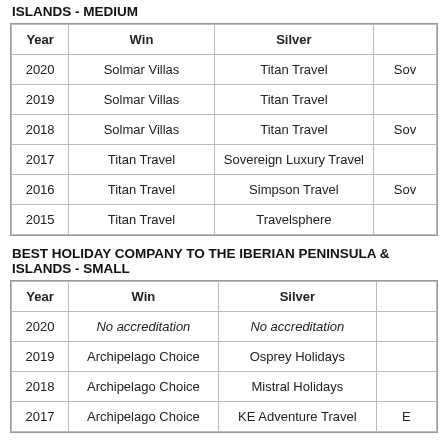ISLANDS - MEDIUM
| Year | Win | Silver |  |
| --- | --- | --- | --- |
| 2020 | Solmar Villas | Titan Travel | Sov… |
| 2019 | Solmar Villas | Titan Travel |  |
| 2018 | Solmar Villas | Titan Travel | Sov… |
| 2017 | Titan Travel | Sovereign Luxury Travel |  |
| 2016 | Titan Travel | Simpson Travel | Sov… |
| 2015 | Titan Travel | Travelsphere |  |
BEST HOLIDAY COMPANY TO THE IBERIAN PENINSULA & ISLANDS - SMALL
| Year | Win | Silver |  |
| --- | --- | --- | --- |
| 2020 | No accreditation | No accreditation |  |
| 2019 | Archipelago Choice | Osprey Holidays |  |
| 2018 | Archipelago Choice | Mistral Holidays |  |
| 2017 | Archipelago Choice | KE Adventure Travel | E… |